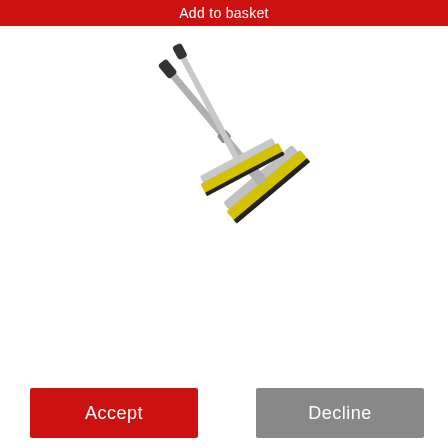Add to basket
[Figure (photo): A window squeegee / cleaning tool with a telescopic handle, shown at an angle against a white background.]
Cookies!
We use cookies so you can shop from this site. We also use cookies to enhance your experience and for analytics and marketing purposes. By clicking "Accept" below, you are agreeing to these cookies. To find out more about our cookies please click here.